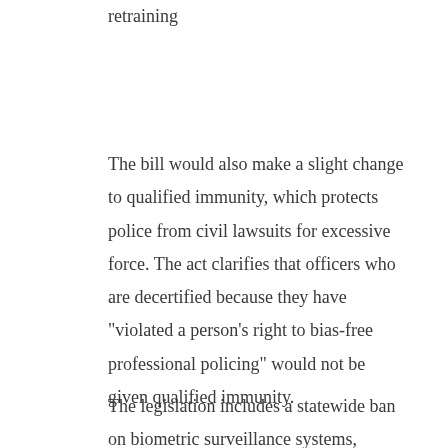retraining
The bill would also make a slight change to qualified immunity, which protects police from civil lawsuits for excessive force. The act clarifies that officers who are decertified because they have “violated a person’s right to bias-free professional policing” would not be given qualified immunity.
The legislation includes a statewide ban on biometric surveillance systems, including